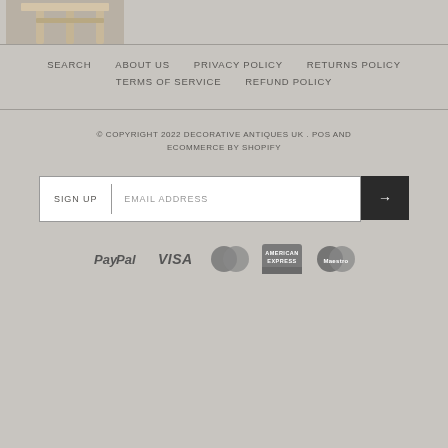[Figure (photo): Partial product photo of a wooden furniture piece (stool or table) on light background, cropped at top]
SEARCH   ABOUT US   PRIVACY POLICY   RETURNS POLICY   TERMS OF SERVICE   REFUND POLICY
© COPYRIGHT 2022 DECORATIVE ANTIQUES UK . POS AND ECOMMERCE BY SHOPIFY
SIGN UP | EMAIL ADDRESS →
[Figure (logo): Payment method logos: PayPal, VISA, MasterCard, American Express, Maestro]